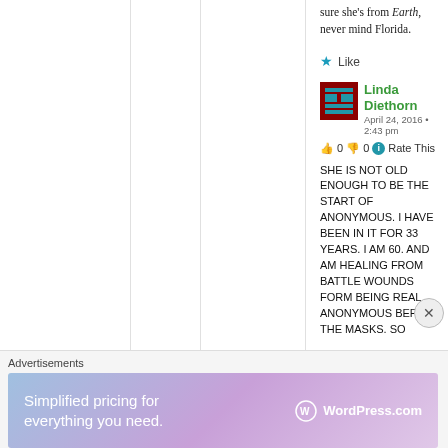sure she's from Earth, never mind Florida.
★ Like
Linda Diethorn
April 24, 2016 • 2:43 pm
👍 0 👎 0 ℹ Rate This
SHE IS NOT OLD ENOUGH TO BE THE START OF ANONYMOUS. I HAVE BEEN IN IT FOR 33 YEARS. I AM 60. AND AM HEALING FROM BATTLE WOUNDS FORM BEING REAL ANONYMOUS BEFORE THE MASKS. SO
Advertisements
[Figure (other): WordPress.com advertisement banner: 'Simplified pricing for everything you need.' with WordPress.com logo]